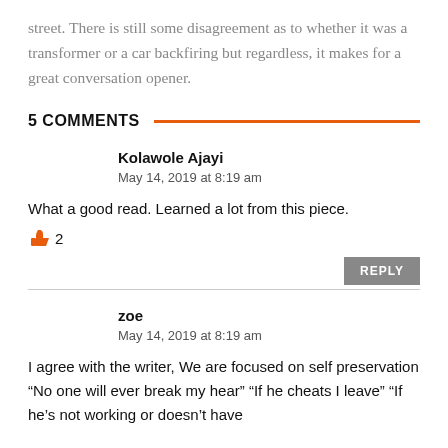street. There is still some disagreement as to whether it was a transformer or a car backfiring but regardless, it makes for a great conversation opener.
5 COMMENTS
Kolawole Ajayi
May 14, 2019 at 8:19 am
What a good read. Learned a lot from this piece.
👍 2
REPLY
zoe
May 14, 2019 at 8:19 am
I agree with the writer, We are focused on self preservation “No one will ever break my hear” “If he cheats I leave” “If he’s not working or doesn’t have